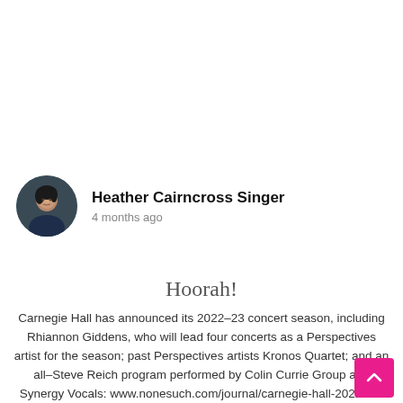[Figure (photo): Circular avatar photo of Heather Cairncross Singer, a woman with dark hair against a dark background]
Heather Cairncross Singer
4 months ago
Hoorah!
Carnegie Hall has announced its 2022–23 concert season, including Rhiannon Giddens, who will lead four concerts as a Perspectives artist for the season; past Perspectives artists Kronos Quartet; and an all–Steve Reich program performed by Colin Currie Group and Synergy Vocals: www.nonesuch.com/journal/carnegie-hall-2022-23-season-rhiannon-giddens-kronos-quartet-steve-reich...